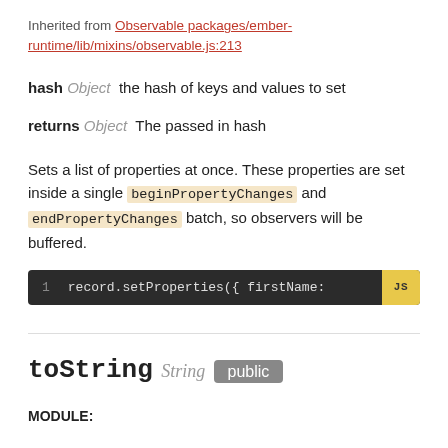Inherited from Observable packages/ember-runtime/lib/mixins/observable.js:213
hash Object  the hash of keys and values to set
returns Object  The passed in hash
Sets a list of properties at once. These properties are set inside a single beginPropertyChanges and endPropertyChanges batch, so observers will be buffered.
[Figure (screenshot): Code block showing: 1  record.setProperties({ firstName:  JS]
toString  String  public
MODULE: